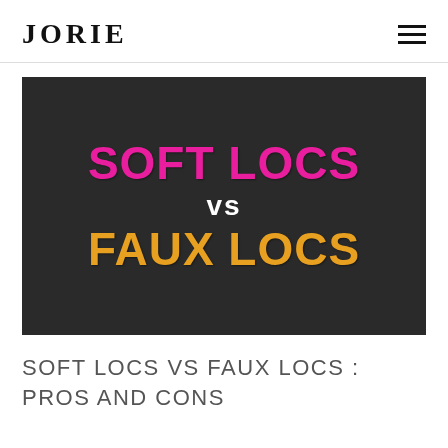JORIE
[Figure (illustration): Hero image with dark textured hair background showing bold text overlay: 'SOFT LOCS' in magenta/pink, 'vs' in white, 'FAUX LOCS' in golden yellow]
SOFT LOCS VS FAUX LOCS : PROS AND CONS